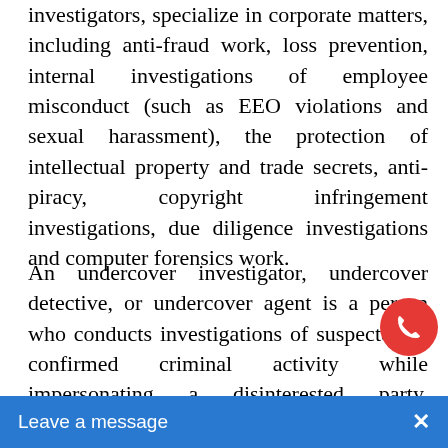investigators, specialize in corporate matters, including anti-fraud work, loss prevention, internal investigations of employee misconduct (such as EEO violations and sexual harassment), the protection of intellectual property and trade secrets, anti-piracy, copyright infringement investigations, due diligence investigations and computer forensics work.
An undercover investigator, undercover detective, or undercover agent is a person who conducts investigations of suspected or confirmed criminal activity while impersonating a disinterested party. Undercover Detective / Investigators often infiltrate a suspected insurgent group, posing as a person interested in purch...